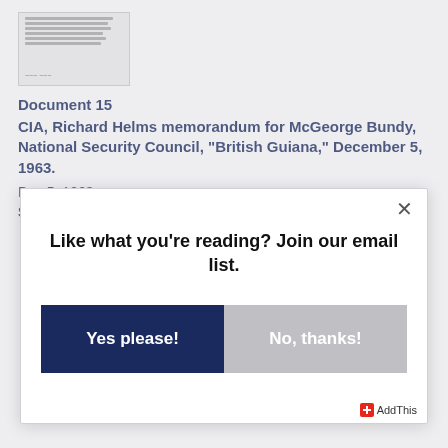[Figure (other): Thumbnail image of a declassified government document with typed text lines and a signature line]
Document 15
CIA, Richard Helms memorandum for McGeorge Bundy, National Security Council, "British Guiana," December 5, 1963.
Dec 5, 1963
Source:  Lyndon B. Johnson Library, Lyndon B. Johnson
[Figure (screenshot): Modal popup dialog with message 'Like what you're reading? Join our email list.' with two buttons: 'Yes please!' (dark blue) and 'No, thanks!' (gray), and a close X button in top right corner. AddThis badge in bottom right.]